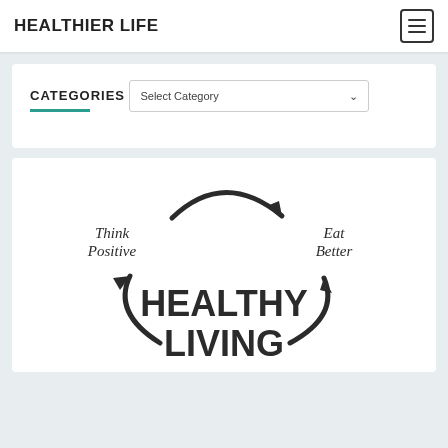HEALTHIER LIFE
CATEGORIES
Select Category
[Figure (illustration): Hand-drawn style healthy living infographic showing 'Think Positive', 'Eat Better', 'HEALTHY LIVING' text with circular arrows]